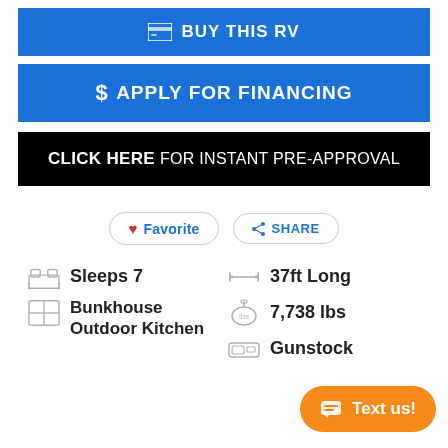BUY THIS RV
$ APPLY FOR FINANCING
CLICK HERE FOR INSTANT PRE-APPROVAL
Favorite
SHARE
Sleeps 7
37ft Long
Bunkhouse Outdoor Kitchen
7,738 lbs
Gunstock
Text us!